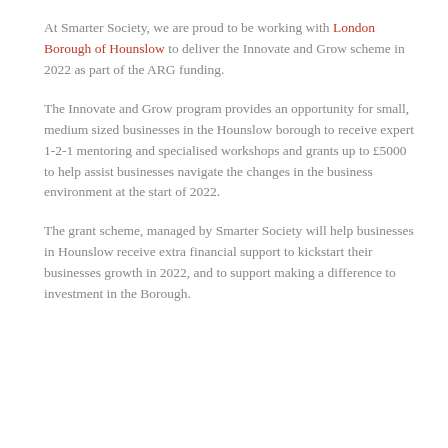At Smarter Society, we are proud to be working with London Borough of Hounslow to deliver the Innovate and Grow scheme in 2022 as part of the ARG funding.
The Innovate and Grow program provides an opportunity for small, medium sized businesses in the Hounslow borough to receive expert 1-2-1 mentoring and specialised workshops and grants up to £5000 to help assist businesses navigate the changes in the business environment at the start of 2022.
The grant scheme, managed by Smarter Society will help businesses in Hounslow receive extra financial support to kickstart their businesses growth in 2022, and to support making a difference to investment in the Borough.